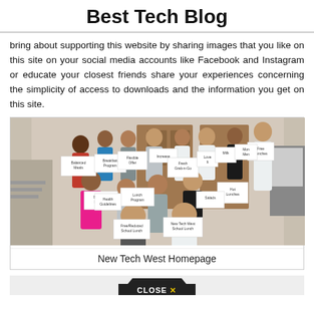Best Tech Blog
bring about supporting this website by sharing images that you like on this site on your social media accounts like Facebook and Instagram or educate your closest friends share your experiences concerning the simplicity of access to downloads and the information you get on this site.
[Figure (photo): Group photo of students and teachers holding signs related to school lunch program, including signs reading: Balanced Meals, Breakfast Program, Lunch Program, Health Guidelines, Free/Reduced Meals, Fresh Grab-n-Go Items, Milk, Free Lunches, Salads, Hot Lunches, Mon Menu, New Tech West School Lunch]
New Tech West Homepage
[Figure (screenshot): Bottom of page showing a dark close button bar with 'CLOSE X' text in dark background with yellow X]